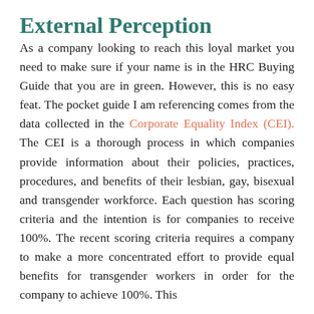External Perception
As a company looking to reach this loyal market you need to make sure if your name is in the HRC Buying Guide that you are in green. However, this is no easy feat. The pocket guide I am referencing comes from the data collected in the Corporate Equality Index (CEI). The CEI is a thorough process in which companies provide information about their policies, practices, procedures, and benefits of their lesbian, gay, bisexual and transgender workforce. Each question has scoring criteria and the intention is for companies to receive 100%. The recent scoring criteria requires a company to make a more concentrated effort to provide equal benefits for transgender workers in order for the company to achieve 100%. This